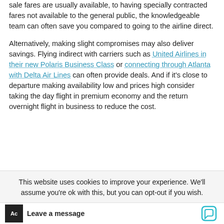sale fares are usually available, to having specially contracted fares not available to the general public, the knowledgeable team can often save you compared to going to the airline direct.
Alternatively, making slight compromises may also deliver savings. Flying indirect with carriers such as United Airlines in their new Polaris Business Class or connecting through Atlanta with Delta Air Lines can often provide deals. And if it’s close to departure making availability low and prices high consider taking the day flight in premium economy and the return overnight flight in business to reduce the cost.
This website uses cookies to improve your experience. We’ll assume you’re ok with this, but you can opt-out if you wish.
Leave a message